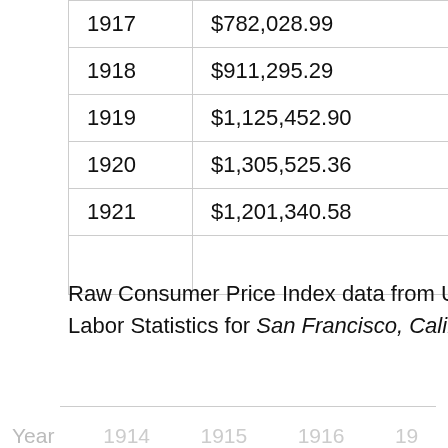| 1917 | $782,028.99 | 9.35% |
| 1918 | $911,295.29 | 16.53% |
| 1919 | $1,125,452.90 | 23.50% |
| 1920 | $1,305,525.36 | 16.00% |
| 1921 | $1,201,340.58 | -7.98% |
|  |  |  |
Raw Consumer Price Index data from U.S. Bureau of Labor Statistics for San Francisco, California:
| Year | 1914 | 1915 | 1916 | 19… |
| --- | --- | --- | --- | --- |